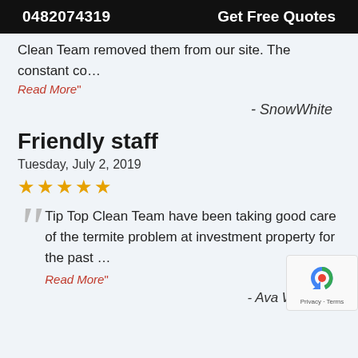0482074319   Get Free Quotes
Clean Team removed them from our site. The constant co…
Read More"
- SnowWhite
Friendly staff
Tuesday, July 2, 2019
★★★★★
Tip Top Clean Team have been taking good care of the termite problem at investment property for the past …
Read More"
- Ava Williams